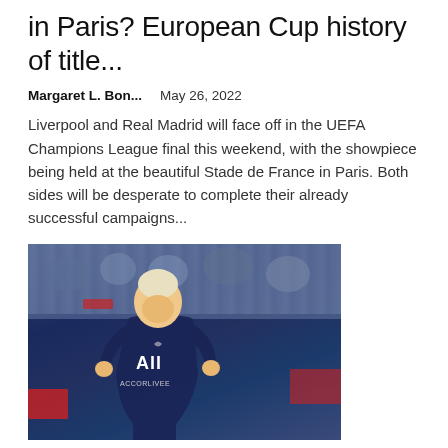in Paris? European Cup history of title...
Margaret L. Bon...   May 26, 2022
Liverpool and Real Madrid will face off in the UEFA Champions League final this weekend, with the showpiece being held at the beautiful Stade de France in Paris. Both sides will be desperate to complete their already successful campaigns...
[Figure (photo): A footballer wearing a dark navy PSG jersey with 'All' sponsor and 'ACCORLIVEE' text, standing on a pitch with crowd in background]
Neymar Premier League hint could be bad news for Chelsea